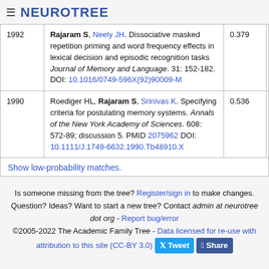≡ NEUROTREE
| Year | Reference | Score |
| --- | --- | --- |
| 1992 | Rajaram S, Neely JH. Dissociative masked repetition priming and word frequency effects in lexical decision and episodic recognition tasks Journal of Memory and Language. 31: 152-182. DOI: 10.1016/0749-596X(92)90009-M | 0.379 |
| 1990 | Roediger HL, Rajaram S, Srinivas K. Specifying criteria for postulating memory systems. Annals of the New York Academy of Sciences. 608: 572-89; discussion 5. PMID 2075962 DOI: 10.1111/J.1749-6632.1990.Tb48910.X | 0.536 |
Show low-probability matches.
Is someone missing from the tree? Register/sign in to make changes. Question? Ideas? Want to start a new tree? Contact admin at neurotree dot org - Report bug/error ©2005-2022 The Academic Family Tree - Data licensed for re-use with attribution to this site (CC-BY 3.0)